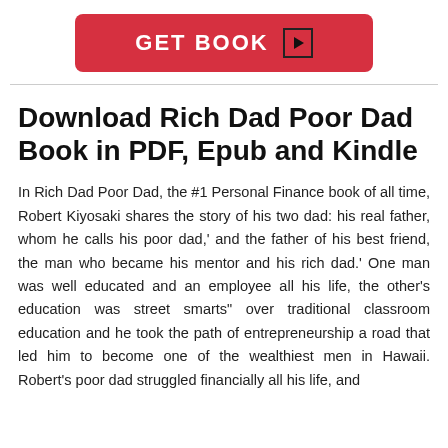[Figure (other): Red 'GET BOOK' button with a play icon on the right side]
Download Rich Dad Poor Dad Book in PDF, Epub and Kindle
In Rich Dad Poor Dad, the #1 Personal Finance book of all time, Robert Kiyosaki shares the story of his two dad: his real father, whom he calls his poor dad,' and the father of his best friend, the man who became his mentor and his rich dad.' One man was well educated and an employee all his life, the other's education was street smarts" over traditional classroom education and he took the path of entrepreneurship a road that led him to become one of the wealthiest men in Hawaii. Robert's poor dad struggled financially all his life, and